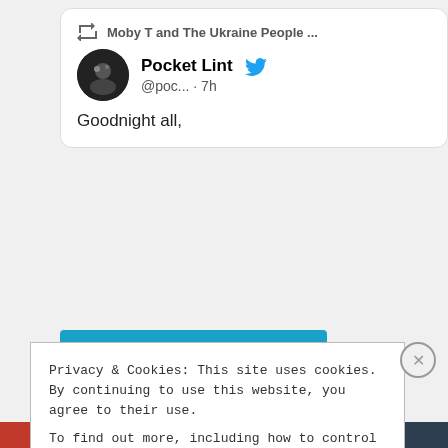[Figure (screenshot): Tweet card showing a retweet of 'Moby T and The Ukraine People ...' by Pocket Lint (@poc... · 7h) with tweet text 'Goodnight all,']
Follow The Rebirth Of Cool
Older Blogs
Aug 2022
Privacy & Cookies: This site uses cookies. By continuing to use this website, you agree to their use.
To find out more, including how to control cookies, see here: Cookie Policy
Close and accept